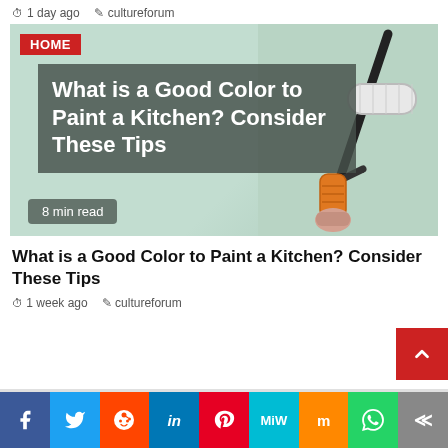1 day ago   cultureforum
[Figure (photo): Hero image of a paint roller applying white/light green paint on a wall. Overlay shows article title 'What is a Good Color to Paint a Kitchen? Consider These Tips' on a dark semi-transparent background. HOME badge in red top-left. '8 min read' badge bottom-left.]
What is a Good Color to Paint a Kitchen? Consider These Tips
1 week ago   cultureforum